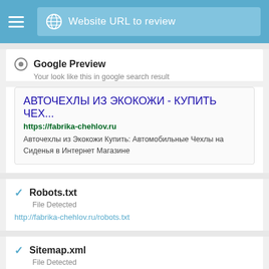Website URL to review
Google Preview
Your look like this in google search result
[Figure (screenshot): Google search result preview box showing: title 'АВТОЧЕХЛЫ ИЗ ЭКОКОЖИ - КУПИТЬ ЧЕХ...' in blue, URL 'https://fabrika-chehlov.ru' in green, and description 'Авточехлы из Экокожи Купить: Автомобильные Чехлы на Сиденья в Интернет Магазине']
Robots.txt
File Detected
http://fabrika-chehlov.ru/robots.txt
Sitemap.xml
File Detected
http://fabrika-chehlov.ru/sitemap.xml
Page Size
Code & Text Ratio